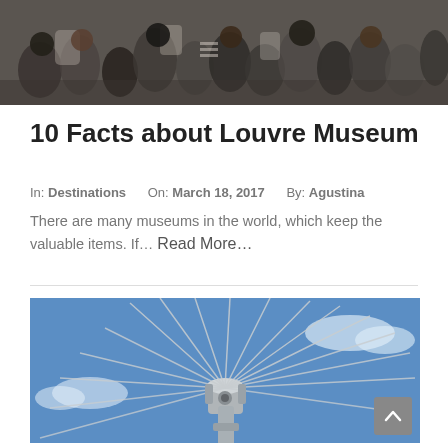[Figure (photo): Crowd of people in a museum or public space, viewed from above at an angle]
10 Facts about Louvre Museum
In: Destinations   On: March 18, 2017   By: Agustina
There are many museums in the world, which keep the valuable items. If… Read More…
[Figure (photo): Close-up upward view of the London Eye Ferris wheel hub and spokes against a blue sky]